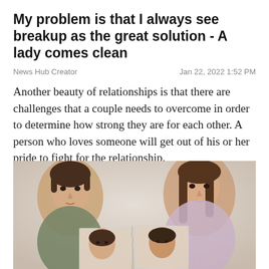My problem is that I always see breakup as the great solution - A lady comes clean
News Hub Creator
Jan 22, 2022 1:52 PM
Another beauty of relationships is that there are challenges that a couple needs to overcome in order to determine how strong they are for each other. A person who loves someone will get out of his or her pride to fight for the relationship.
[Figure (photo): A young man and woman holding up a torn photograph of themselves, appearing serious or sad, suggesting a breakup or relationship conflict.]